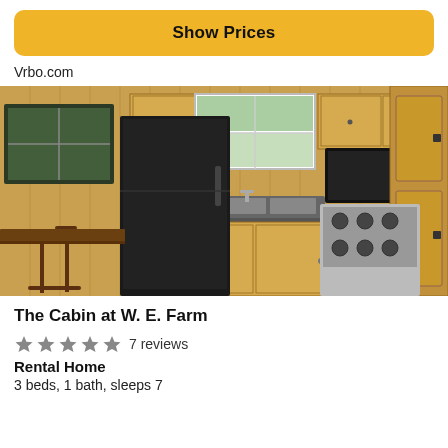Show Prices
Vrbo.com
[Figure (photo): Interior photo of a cabin kitchen with wooden walls and cabinets, black refrigerator, stainless steel stove, double sink, microwave, and two bar stools visible on the left.]
The Cabin at W. E. Farm
★★★★★ 7 reviews
Rental Home
3 beds, 1 bath, sleeps 7